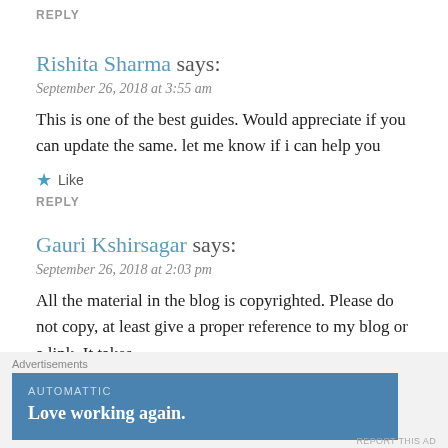REPLY
Rishita Sharma says:
September 26, 2018 at 3:55 am
This is one of the best guides. Would appreciate if you can update the same. let me know if i can help you
Like
REPLY
Gauri Kshirsagar says:
September 26, 2018 at 2:03 pm
All the material in the blog is copyrighted. Please do not copy, at least give a proper reference to my blog or a link. It takes
Advertisements
AUTOMATTIC
Love working again.